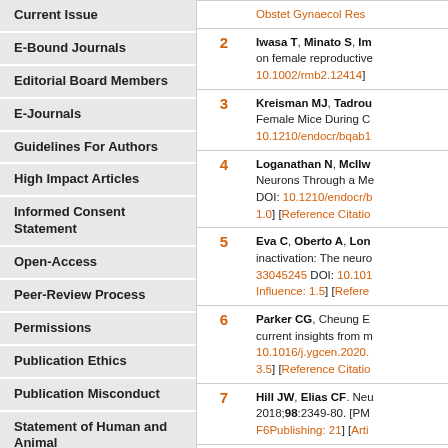Current Issue
E-Bound Journals
Editorial Board Members
E-Journals
Guidelines For Authors
High Impact Articles
Informed Consent Statement
Open-Access
Peer-Review Process
Permissions
Publication Ethics
Publication Misconduct
Statement of Human and Animal
Steps for Submitting Manuscripts
Submit a Manuscript
[Figure (other): QR code on orange background]
| # | Reference |
| --- | --- |
|  | Obstet Gynaecol Res... |
| 2 | Iwasa T, Minato S, Im... on female reproductive... 10.1002/rmb2.12414] |
| 3 | Kreisman MJ, Tadrou... Female Mice During C... 10.1210/endocr/bqab1... |
| 4 | Loganathan N, McIlw... Neurons Through a Me... DOI: 10.1210/endocr/b... 1.0] [Reference Citatio... |
| 5 | Eva C, Oberto A, Lon... inactivation: The neuro... 33045245 DOI: 10.101... Influence: 1.5] [Refere... |
| 6 | Parker CG, Cheung E... current insights from m... 10.1016/j.ygcen.2020.... 3.5] [Reference Citatio... |
| 7 | Hill JW, Elias CF. Neu... 2018;98:2349-80. [PM... F6Publishing: 21] [Arti... |